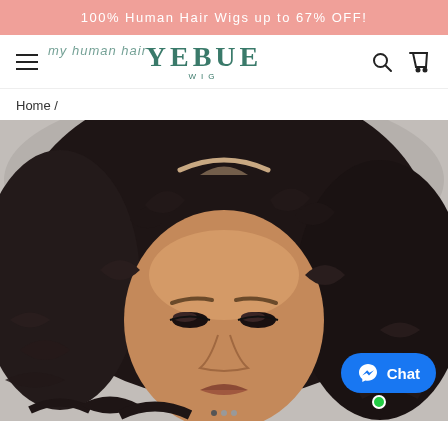100% Human Hair Wigs up to 67% OFF!
[Figure (logo): Yebue Wig brand logo in teal/green serif font with cursive overlay and 'WIG' subtitle]
Home /
[Figure (photo): Model wearing a curly human hair lace front wig, close-up portrait with dramatic eye makeup, warm skin tone, dark voluminous curly hair with a visible lace part at the top]